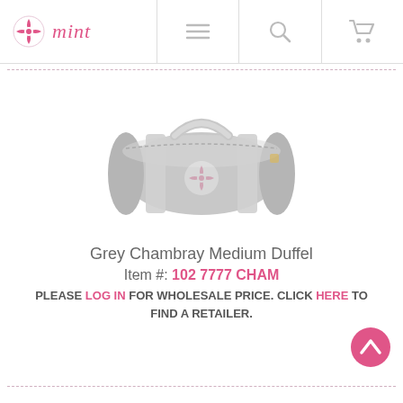mint — navigation bar with logo, menu, search, and cart icons
[Figure (photo): Grey Chambray Medium Duffel bag — a cylindrical grey fabric duffel bag with grey straps and a watermark logo on the side]
Grey Chambray Medium Duffel
Item #: 102 7777 CHAM
PLEASE LOG IN FOR WHOLESALE PRICE. CLICK HERE TO FIND A RETAILER.